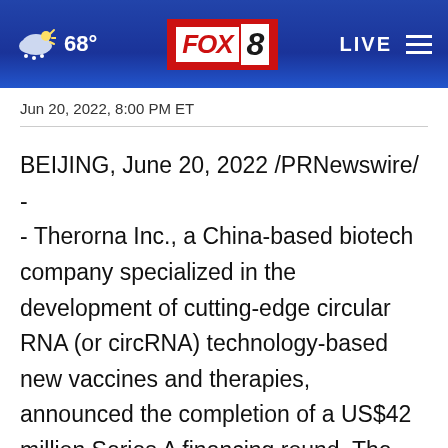FOX 8 — 68° LIVE
Jun 20, 2022, 8:00 PM ET
BEIJING, June 20, 2022 /PRNewswire/ - - Therorna Inc., a China-based biotech company specialized in the development of cutting-edge circular RNA (or circRNA) technology-based new vaccines and therapies, announced the completion of a US$42 million Series A financing round. The round was co-led by a well-known industrial investment firm and MSA Capital, with participation from Sherpa Healthcare Partners,